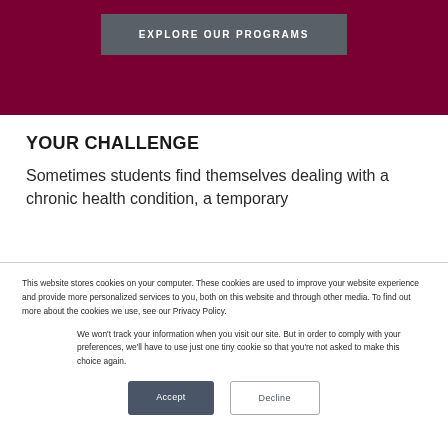[Figure (screenshot): Dark maroon/crimson hero banner background with an 'EXPLORE OUR PROGRAMS' button in dark gray]
YOUR CHALLENGE
Sometimes students find themselves dealing with a chronic health condition, a temporary
This website stores cookies on your computer. These cookies are used to improve your website experience and provide more personalized services to you, both on this website and through other media. To find out more about the cookies we use, see our Privacy Policy.
We won't track your information when you visit our site. But in order to comply with your preferences, we'll have to use just one tiny cookie so that you're not asked to make this choice again.
Accept
Decline